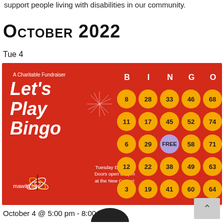support people living with disabilities in our community.
October 2022
Tue 4
[Figure (infographic): Red bingo card flyer. Title: Let's Play Bingo, A Charitable Fundraiser. BINGO grid with numbers: B col: 8,11,6,12,3; I col: 28,17,29,22,19; N col: 33,45,FREE,38,41; G col: 46,52,58,49,60; O col: 68,74,71,63,64. Tuesday Evenings, Doors open at 5pm at the New Centre! mawita'mk logo.]
October 4 @ 5:00 pm - 8:00 pm